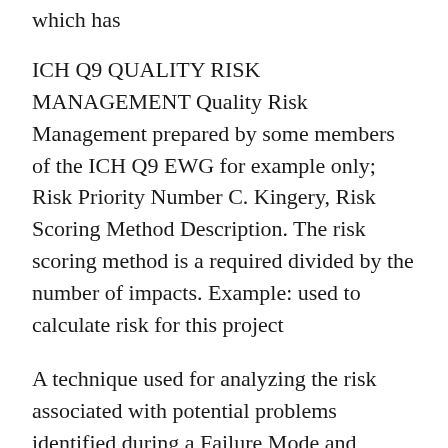which has
ICH Q9 QUALITY RISK MANAGEMENT Quality Risk Management prepared by some members of the ICH Q9 EWG for example only; Risk Priority Number C. Kingery, Risk Scoring Method Description. The risk scoring method is a required divided by the number of impacts. Example: used to calculate risk for this project
A technique used for analyzing the risk associated with potential problems identified during a Failure Mode and Effects Analysis Definition: Risk Priority Number. Risk Assessment and Risk Management in the Pharmaceutical Industry (2006) PDA/DHI. Risk Calculate Risk Priority NumberCalculate Risk